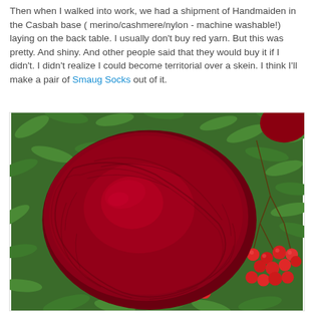Then when I walked into work, we had a shipment of Handmaiden in the Casbah base ( merino/cashmere/nylon - machine washable!) laying on the back table. I usually don't buy red yarn. But this was pretty. And shiny. And other people said that they would buy it if I didn't. I didn't realize I could become territorial over a skein. I think I'll make a pair of Smaug Socks out of it.
[Figure (photo): A deep crimson/red skein of yarn (Handmaiden Casbah base) resting on green foliage, with bright red berries and dark green leaves visible alongside the yarn.]